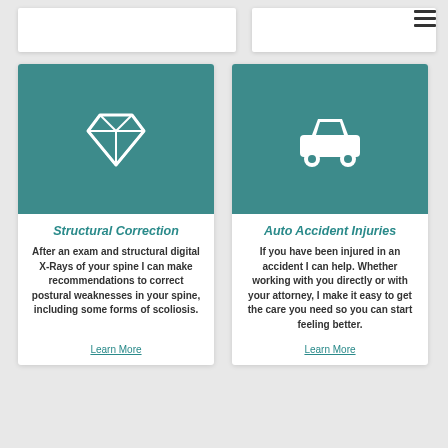[Figure (screenshot): Hamburger menu icon (three horizontal lines) in top right corner]
[Figure (illustration): Teal card with white diamond gem icon representing Structural Correction service]
Structural Correction
After an exam and structural digital X-Rays of your spine I can make recommendations to correct postural weaknesses in your spine, including some forms of scoliosis.
Learn More
[Figure (illustration): Teal card with white car icon representing Auto Accident Injuries service]
Auto Accident Injuries
If you have been injured in an accident I can help. Whether working with you directly or with your attorney, I make it easy to get the care you need so you can start feeling better.
Learn More